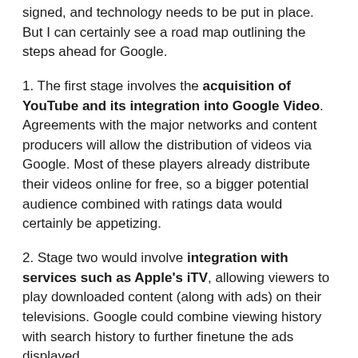signed, and technology needs to be put in place. But I can certainly see a road map outlining the steps ahead for Google.
1. The first stage involves the acquisition of YouTube and its integration into Google Video. Agreements with the major networks and content producers will allow the distribution of videos via Google. Most of these players already distribute their videos online for free, so a bigger potential audience combined with ratings data would certainly be appetizing.
2. Stage two would involve integration with services such as Apple's iTV, allowing viewers to play downloaded content (along with ads) on their televisions. Google could combine viewing history with search history to further finetune the ads displayed.
3. Stage three would allow viewers to record programs on Google's servers and watch them at a later time. Additionally Google would have the capacity to allow revenue sharing